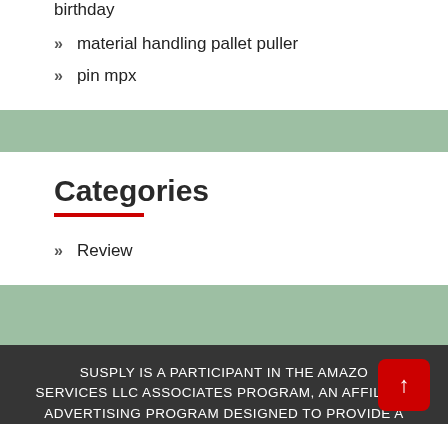birthday
material handling pallet puller
pin mpx
Categories
Review
SUSPLY IS A PARTICIPANT IN THE AMAZON SERVICES LLC ASSOCIATES PROGRAM, AN AFFILIATE ADVERTISING PROGRAM DESIGNED TO PROVIDE A